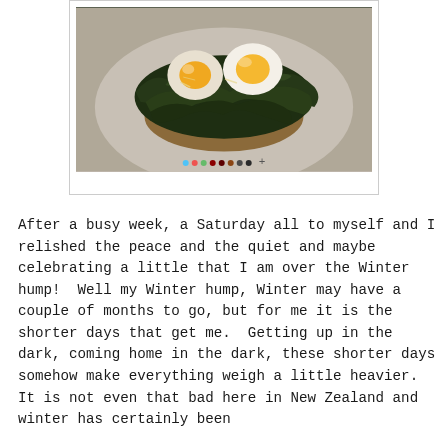[Figure (photo): A food photo showing a plate with toast or bread topped with dark leafy greens (kale or spinach) and two soft-boiled or poached eggs with runny yolks, served on a gray plate. Below the image are colored navigation dots and a plus sign.]
After a busy week, a Saturday all to myself and I relished the peace and the quiet and maybe celebrating a little that I am over the Winter hump!  Well my Winter hump, Winter may have a couple of months to go, but for me it is the shorter days that get me.  Getting up in the dark, coming home in the dark, these shorter days somehow make everything weigh a little heavier. It is not even that bad here in New Zealand and winter has certainly been